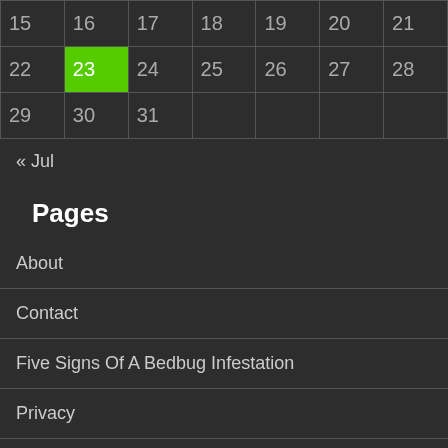| 15 | 16 | 17 | 18 | 19 | 20 | 21 |
| 22 | 23 | 24 | 25 | 26 | 27 | 28 |
| 29 | 30 | 31 |  |  |  |  |
« Jul
Pages
About
Contact
Five Signs Of A Bedbug Infestation
Privacy
Write For Us Now To Have Content Published Online.